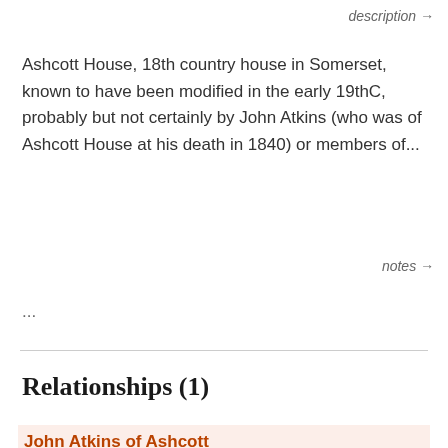description →
Ashcott House, 18th country house in Somerset, known to have been modified in the early 19thC, probably but not certainly by John Atkins (who was of Ashcott House at his death in 1840) or members of...
notes →
...
Relationships (1)
John Atkins of Ashcott
SON → MOTHER
Elizabeth White of Ashcott
DETAILS
Notes →
John Atkins of Ashcott was also the main heir